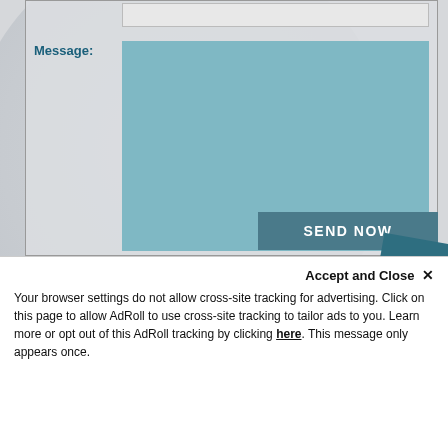Message:
[Figure (screenshot): A web contact form showing a 'Message:' label with a large teal/blue-green textarea input box below it, and a 'SEND NOW' button to the lower right, plus a teal '+' button partially visible at the bottom right corner. The background shows a muted gray decorative circle/watermark.]
SEND NOW
Accept and Close ✕
Your browser settings do not allow cross-site tracking for advertising. Click on this page to allow AdRoll to use cross-site tracking to tailor ads to you. Learn more or opt out of this AdRoll tracking by clicking here. This message only appears once.